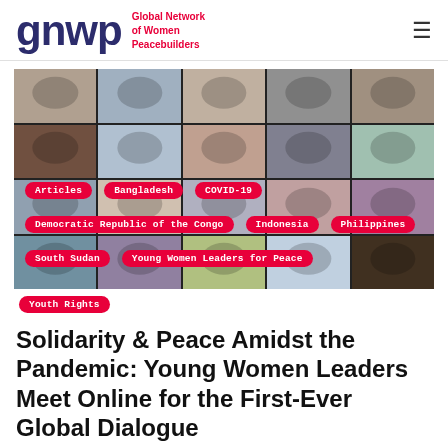gnwp — Global Network of Women Peacebuilders
[Figure (photo): Screenshot of a video call grid showing multiple young women participants in an online meeting, arranged in a 5-column by 4-row video grid layout on a dark background.]
Articles
Bangladesh
COVID-19
Democratic Republic of the Congo
Indonesia
Philippines
South Sudan
Young Women Leaders for Peace
Youth Rights
Solidarity & Peace Amidst the Pandemic: Young Women Leaders Meet Online for the First-Ever Global Dialogue